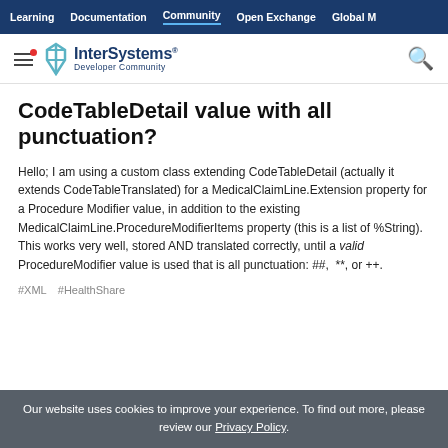Learning | Documentation | Community | Open Exchange | Global M
[Figure (logo): InterSystems Developer Community logo with hamburger menu and search icon]
CodeTableDetail value with all punctuation?
Hello; I am using a custom class extending CodeTableDetail (actually it extends CodeTableTranslated) for a MedicalClaimLine.Extension property for a Procedure Modifier value, in addition to the existing MedicalClaimLine.ProcedureModifierItems property (this is a list of %String).  This works very well, stored AND translated correctly, until a valid ProcedureModifier value is used that is all punctuation: ##,  **, or ++.
#XML  #HealthShare
Our website uses cookies to improve your experience. To find out more, please review our Privacy Policy.